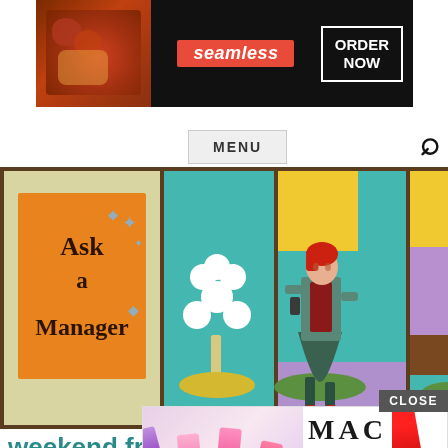[Figure (screenshot): Seamless food delivery advertisement banner with pizza image on left, Seamless logo center, ORDER NOW button on right, dark background]
MENU
[Figure (illustration): Ask a Manager website header illustration showing four retro-style panels: orange 'Ask a Manager' sign on beige background, stylized white tree on teal background, professional woman in teal suit on teal/yellow/purple background, partial fourth panel]
weekend free-for-all – September 23-24, 2017
by ALIS
[Figure (screenshot): MAC cosmetics advertisement with lipsticks on left, MAC logo, SHOP NOW button, and red lipstick on right. CLOSE button overlay visible.]